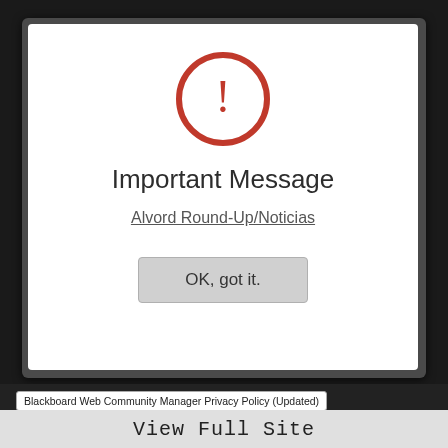[Figure (illustration): Red circle with exclamation mark warning icon]
Important Message
Alvord Round-Up/Noticias
OK, got it.
Blackboard Web Community Manager Privacy Policy (Updated)
Copyright © 2002-2022 Blackboard, Inc. All rights reserved.
View Full Site